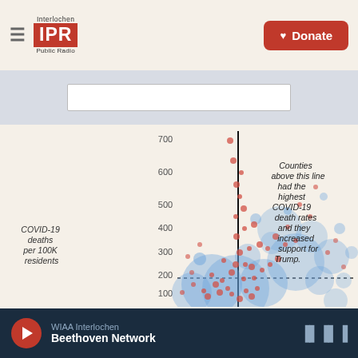[Figure (logo): Interlochen IPR Public Radio logo in red]
[Figure (other): Donate button with heart icon]
[Figure (other): Search bar input field]
[Figure (scatter-plot): Scatter plot of COVID-19 deaths per 100K residents vs Trump support change. Red and blue circles of varying sizes. A vertical black line and a horizontal dotted line at 200. Annotation reads: Counties above this line had the highest COVID-19 death rates and they increased support for Trump.]
[Figure (other): Audio player footer: WIAA Interlochen / Beethoven Network, play button, audio waveform icon]